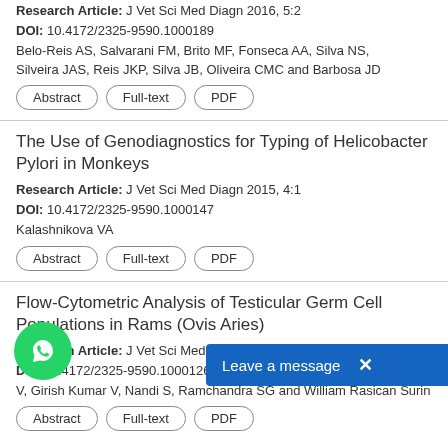Research Article: J Vet Sci Med Diagn 2016, 5:2
DOI: 10.4172/2325-9590.1000189
Belo-Reis AS, Salvarani FM, Brito MF, Fonseca AA, Silva NS, Silveira JAS, Reis JKP, Silva JB, Oliveira CMC and Barbosa JD
The Use of Genodiagnostics for Typing of Helicobacter Pylori in Monkeys
Research Article: J Vet Sci Med Diagn 2015, 4:1
DOI: 10.4172/2325-9590.1000147
Kalashnikova VA
Flow-Cytometric Analysis of Testicular Germ Cell Populations in Rams (Ovis Aries)
Research Article: J Vet Sci Med Diagn 2014, 3:1
DOI: .1.4172/2325-9590.1000126
V, Girish Kumar V, Nandi S, Ramchandra SG and William Rasican Surin